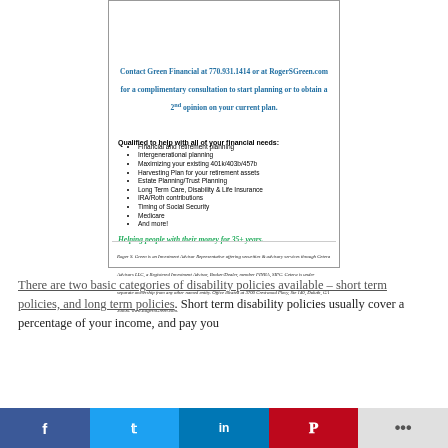[Figure (photo): Box of red apples with green foliage in background]
Contact Green Financial at 770.931.1414 or at RogerSGreen.com for a complimentary consultation to start planning or to obtain a 2nd opinion on your current plan.
Qualified to help with all of your financial needs:
Financial and retirement planning
Intergenerational planning
Maximizing your existing 401k/403b/457b
Harvesting Plan for your retirement assets
Estate Planning/Trust Planning
Long Term Care, Disability & Life Insurance
IRA/Roth contributions
Timing of Social Security
Medicare
And more!
Helping people with their money for 35+ years.
Roger S. Green is an Investment Advisor Representative offering securities & advisory services through Cetera Advisors LLC, a Registered Investment Advisor, Broker/Dealer, member FINRA, SIPC. Cetera is under separate ownership from any other named entity. Office located at 3700 Crestwood Pkwy, Ste 140, Duluth, GA 30096. www.RogerSGreen.com.
There are two basic categories of disability policies available – short term policies, and long term policies. Short term disability policies usually cover a percentage of your income, and pay you